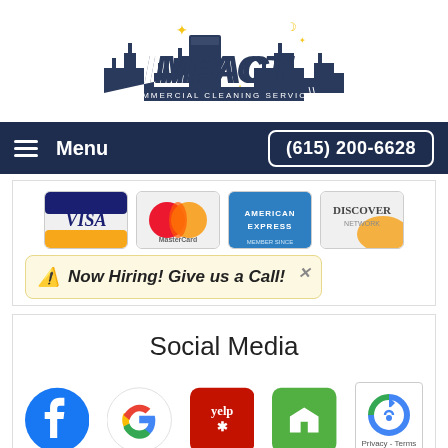[Figure (logo): Impact Commercial Cleaning Services logo with city skyline silhouette and stars]
Menu | (615) 200-6628
[Figure (illustration): Payment method logos: Visa, MasterCard, American Express, Discover Network]
⚠ Now Hiring! Give us a Call!
Social Media
[Figure (illustration): Social media icons: Facebook, Google, Yelp, Houzz, and reCAPTCHA badge with Privacy - Terms]